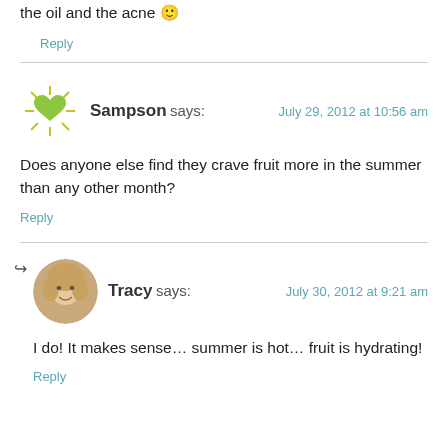the oil and the acne 🙂
Reply
Sampson says: July 29, 2012 at 10:56 am
Does anyone else find they crave fruit more in the summer than any other month?
Reply
Tracy says: July 30, 2012 at 9:21 am
I do! It makes sense… summer is hot… fruit is hydrating!
Reply